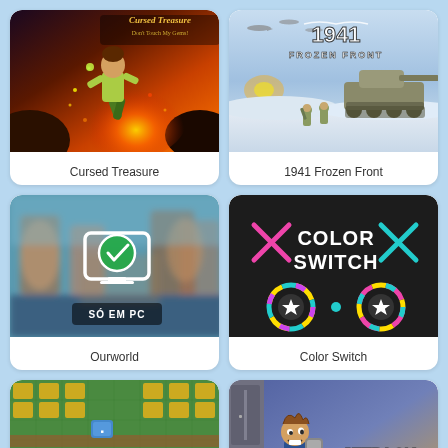[Figure (screenshot): Cursed Treasure game cover art showing a running character with fire and volcanic setting]
Cursed Treasure
[Figure (screenshot): 1941 Frozen Front game cover art showing a tank and soldiers in a snowy winter scene]
1941 Frozen Front
[Figure (screenshot): Ourworld game card showing a blurred scene with a monitor icon and checkmark, labeled SÓ EM PC]
Ourworld
[Figure (screenshot): Color Switch game cover art on dark background with colorful circles, stars, and the title COLOR SWITCH]
Color Switch
[Figure (screenshot): Top-down tactical/tower defense game screenshot with green grid and game pieces]
[Figure (screenshot): Jetpack Joyride game cover art showing a running character with jetpack in a school/lab setting]